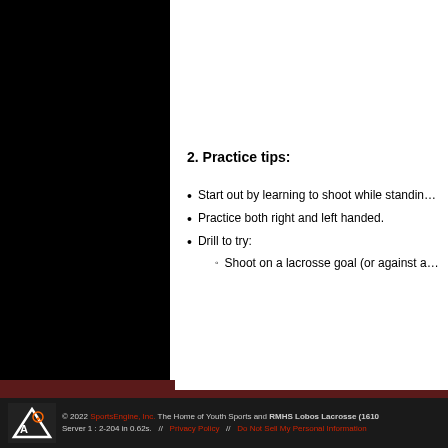[Figure (other): Black panel on the left side of the page, representing a navigation/sidebar area of a website]
2. Practice tips:
Start out by learning to shoot while standin…
Practice both right and left handed.
Drill to try:
Shoot on a lacrosse goal (or against a…
© 2022 SportsEngine, Inc. The Home of Youth Sports and RMHS Lobos Lacrosse (1610… Server 1 : 2-204 in 0.62s. // Privacy Policy // Do Not Sell My Personal Information